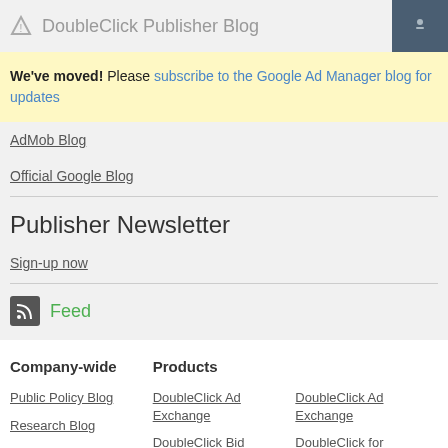DoubleClick Publisher Blog
We've moved! Please subscribe to the Google Ad Manager blog for updates
AdMob Blog
Official Google Blog
Publisher Newsletter
Sign-up now
Feed
Company-wide
Products
Public Policy Blog
Research Blog
Student Blog
DoubleClick Ad Exchange
DoubleClick Bid
DoubleClick Ad Exchange
DoubleClick for